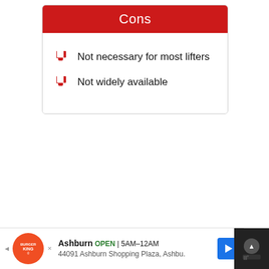Cons
Not necessary for most lifters
Not widely available
Ashburn OPEN 5AM–12AM 44091 Ashburn Shopping Plaza, Ashbu.